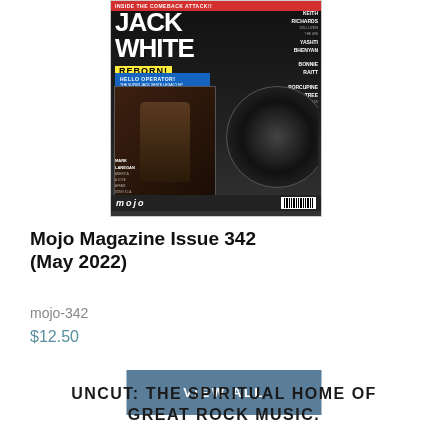[Figure (photo): Cover of Mojo Magazine Issue 342 (May 2022) featuring Jack White on the cover with text 'JACK WHITE REBORN!' in large letters, with various artist names listed on the right side.]
Mojo Magazine Issue 342 (May 2022)
mojo-342
$12.50
VIEW ALL
UNCUT: THE SPIRITUAL HOME OF GREAT ROCK MUSIC.